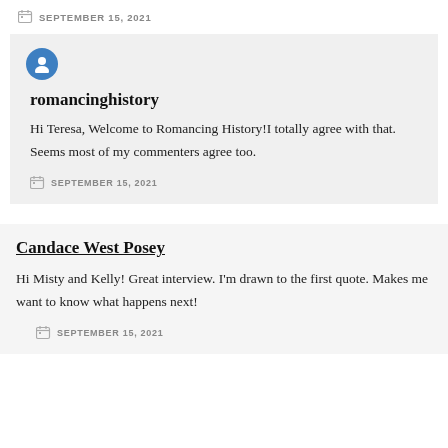SEPTEMBER 15, 2021
romancinghistory
Hi Teresa, Welcome to Romancing History!I totally agree with that. Seems most of my commenters agree too.
SEPTEMBER 15, 2021
Candace West Posey
Hi Misty and Kelly! Great interview. I'm drawn to the first quote. Makes me want to know what happens next!
SEPTEMBER 15, 2021